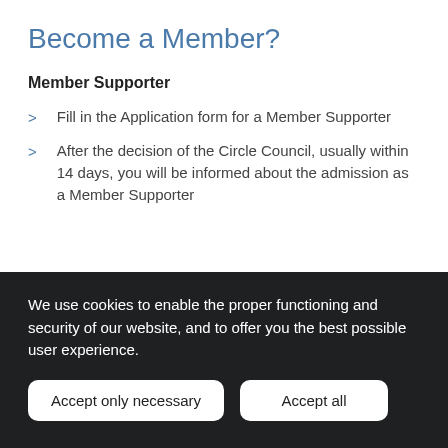Become a Member?
Member Supporter
Fill in the Application form for a Member Supporter
After the decision of the Circle Council, usually within 14 days, you will be informed about the admission as a Member Supporter
We use cookies to enable the proper functioning and security of our website, and to offer you the best possible user experience.
Accept only necessary
Accept all